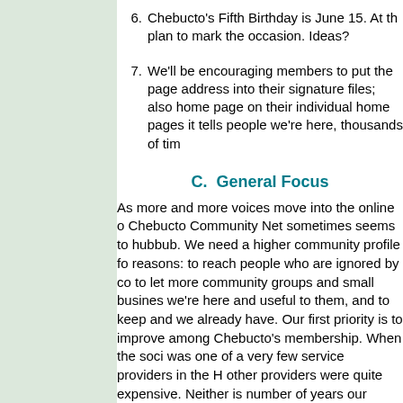6. Chebucto's Fifth Birthday is June 15. At th plan to mark the occasion. Ideas?
7. We'll be encouraging members to put the page address into their signature files; also home page on their individual home pages it tells people we're here, thousands of tim
C.  General Focus
As more and more voices move into the online o Chebucto Community Net sometimes seems to hubbub. We need a higher community profile fo reasons: to reach people who are ignored by co to let more community groups and small busines we're here and useful to them, and to keep and we already have. Our first priority is to improve among Chebucto's membership. When the soci was one of a very few service providers in the H other providers were quite expensive. Neither is number of years our membership grew quickly, changed as well. It's easier to keep people than and the Communications Committee is looking f from anyone who has either to offer. The hardwa